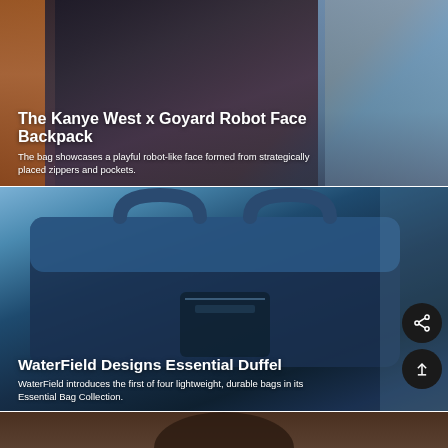[Figure (photo): Photo of Kanye West and others walking, used as background for the first card]
The Kanye West x Goyard Robot Face Backpack
The bag showcases a playful robot-like face formed from strategically placed zippers and pockets.
[Figure (photo): Photo of a dark navy blue WaterField Designs Essential Duffel bag near a car]
WaterField Designs Essential Duffel
WaterField introduces the first of four lightweight, durable bags in its Essential Bag Collection.
[Figure (photo): Partial photo visible at bottom, showing person from shoulders/head]